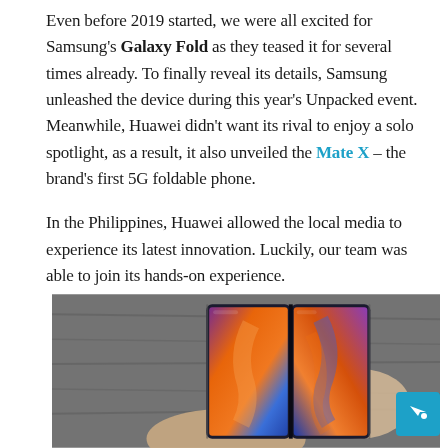Even before 2019 started, we were all excited for Samsung's Galaxy Fold as they teased it for several times already. To finally reveal its details, Samsung unleashed the device during this year's Unpacked event. Meanwhile, Huawei didn't want its rival to enjoy a solo spotlight, as a result, it also unveiled the Mate X – the brand's first 5G foldable phone.

In the Philippines, Huawei allowed the local media to experience its latest innovation. Luckily, our team was able to join its hands-on experience.
[Figure (photo): A person holding the Huawei Mate X foldable phone open, showing the large folded display with a colorful abstract orange and blue wallpaper, against a grey textured surface background.]